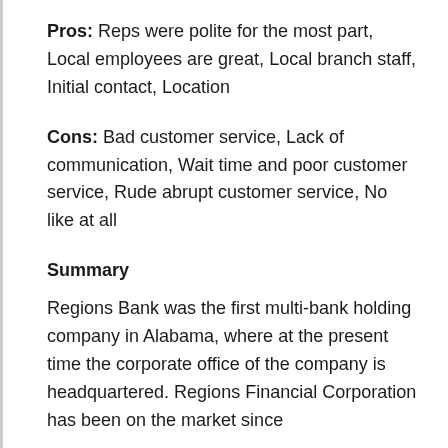Pros: Reps were polite for the most part, Local employees are great, Local branch staff, Initial contact, Location
Cons: Bad customer service, Lack of communication, Wait time and poor customer service, Rude abrupt customer service, No like at all
Summary
Regions Bank was the first multi-bank holding company in Alabama, where at the present time the corporate office of the company is headquartered. Regions Financial Corporation has been on the market since